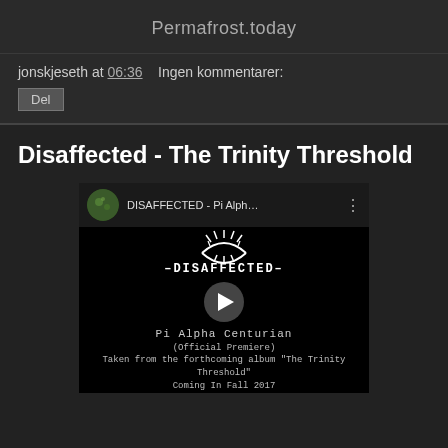Permafrost.today
jonskjeseth at 06:36    Ingen kommentarer:
Del
Disaffected - The Trinity Threshold
[Figure (screenshot): YouTube video thumbnail for DISAFFECTED - Pi Alpha Centurian (Official Premiere). Shows the band logo with sun/spikes graphic, band name -DISAFFECTED-, subtitle Pi Alpha Centurian, play button overlay, and text '(Official Premiere) Taken from the forthcoming album "The Trinity Threshold" Coming In Fall 2017']